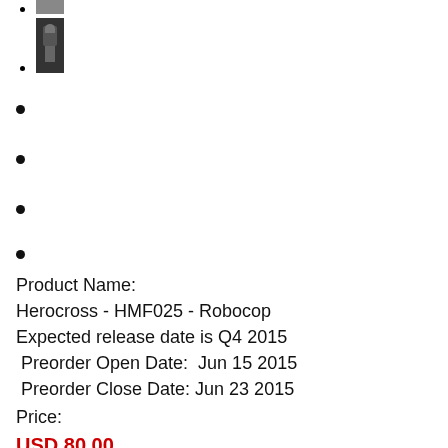[thumbnail image 1 - small product image]
[thumbnail image 2 - Robocop figure image]
Product Name:
Herocross - HMF025 - Robocop
Expected release date is Q4 2015
 Preorder Open Date:  Jun 15 2015
 Preorder Close Date: Jun 23 2015
Price:
USD 80,00